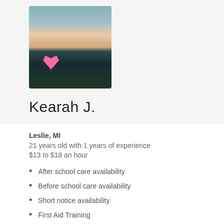[Figure (photo): Profile photo of Kearah J., a young woman with blonde hair wearing a dark dinosaur-patterned shirt with a pink heart emoji graphic]
Kearah J.
Leslie, MI
21 years old with 1 years of experience
$13 to $18 an hour
After school care availability
Before school care availability
Short notice availability
First Aid Training